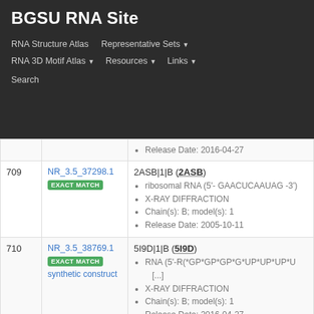BGSU RNA Site
RNA Structure Atlas | Representative Sets ▾ | RNA 3D Motif Atlas ▾ | Resources ▾ | Links ▾ | Search
| # | ID | Description |
| --- | --- | --- |
|  |  | Release Date: 2016-04-27 |
| 709 | NR_3.5_37298.1 EXACT MATCH | 2ASB|1|B (2ASB)
• ribosomal RNA (5'- GAACUCAAUAG -3')
• X-RAY DIFFRACTION
• Chain(s): B; model(s): 1
• Release Date: 2005-10-11 |
| 710 | NR_3.5_38769.1 EXACT MATCH synthetic construct | 5I9D|1|B (5I9D)
• RNA (5'-R(*GP*GP*GP*G*UP*UP*UP*U [...]
• X-RAY DIFFRACTION
• Chain(s): B; model(s): 1
• Release Date: 2016-04-27 |